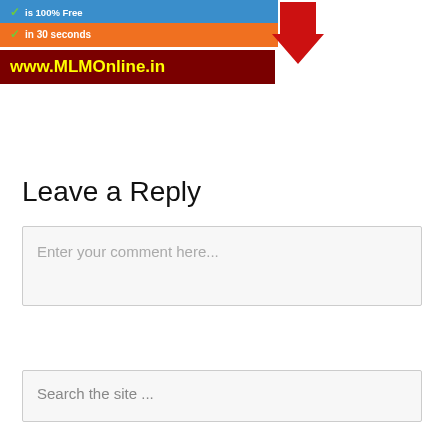[Figure (screenshot): Cropped advertisement banner showing 'is 100% Free' and 'in 30 seconds' text on blue/orange background, with a large red downward arrow, and a dark red banner with yellow text reading 'www.MLMOnline.in']
Leave a Reply
Enter your comment here...
Search the site ...